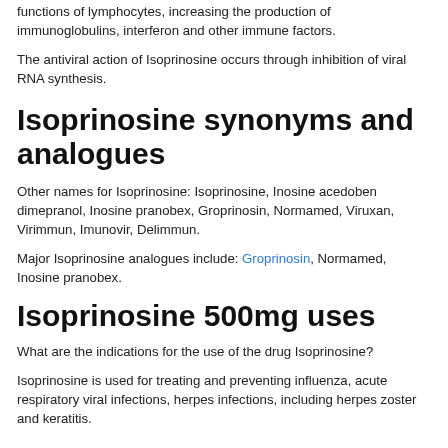functions of lymphocytes, increasing the production of immunoglobulins, interferon and other immune factors.
The antiviral action of Isoprinosine occurs through inhibition of viral RNA synthesis.
Isoprinosine synonyms and analogues
Other names for Isoprinosine: Isoprinosine, Inosine acedoben dimepranol, Inosine pranobex, Groprinosin, Normamed, Viruxan, Virimmun, Imunovir, Delimmun.
Major Isoprinosine analogues include: Groprinosin, Normamed, Inosine pranobex.
Isoprinosine 500mg uses
What are the indications for the use of the drug Isoprinosine?
Isoprinosine is used for treating and preventing influenza, acute respiratory viral infections, herpes infections, including herpes zoster and keratitis.